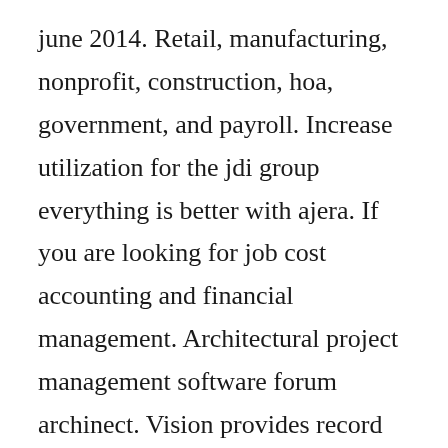june 2014. Retail, manufacturing, nonprofit, construction, hoa, government, and payroll. Increase utilization for the jdi group everything is better with ajera. If you are looking for job cost accounting and financial management. Architectural project management software forum archinect. Vision provides record level security that can be set using any standard query, as well as the ability to limit reporting and lookup fields by role. Deltek vision is a cloudbased projectbased solution for professional services firms that is available for cloud or onpremise deployment